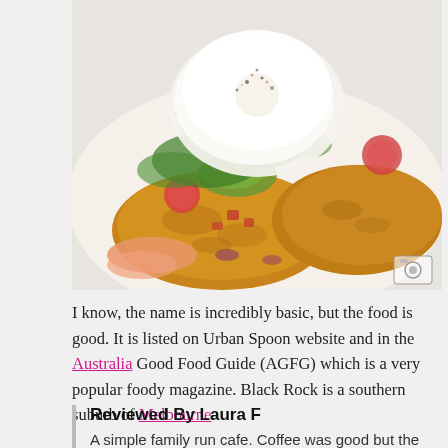[Figure (photo): Close-up food photo of a vegetable fritter/cake topped with a poached egg, avocado, cherry tomatoes, herbs, and smoked salmon on a white plate]
I know, the name is incredibly basic, but the food is good. It is listed on Urban Spoon website and in the Australia Good Food Guide (AGFG) which is a very popular foody magazine. Black Rock is a southern suburb of Melbourne.
Reviewed By Laura F
A simple family run cafe. Coffee was good but the food was nothing special. Ordered